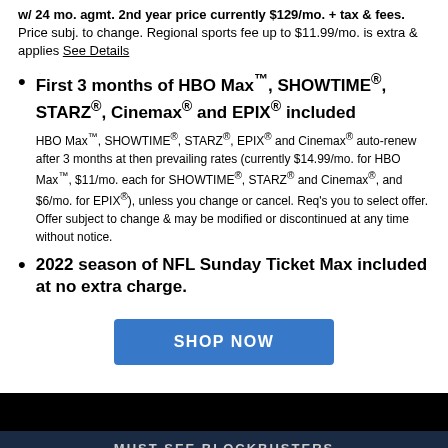w/ 24 mo. agmt. 2nd year price currently $129/mo. + tax & fees. Price subj. to change. Regional sports fee up to $11.99/mo. is extra & applies See Details
First 3 months of HBO Max™, SHOWTIME®, STARZ®, Cinemax® and EPIX® included
HBO Max™, SHOWTIME®, STARZ®, EPIX® and Cinemax® auto-renew after 3 months at then prevailing rates (currently $14.99/mo. for HBO Max™, $11/mo. each for SHOWTIME®, STARZ® and Cinemax®, and $6/mo. for EPIX®), unless you change or cancel. Req's you to select offer. Offer subject to change & may be modified or discontinued at any time without notice.
2022 season of NFL Sunday Ticket Max included at no extra charge.
SHOP NOW
MUST-SEE BLOCKBUSTERS